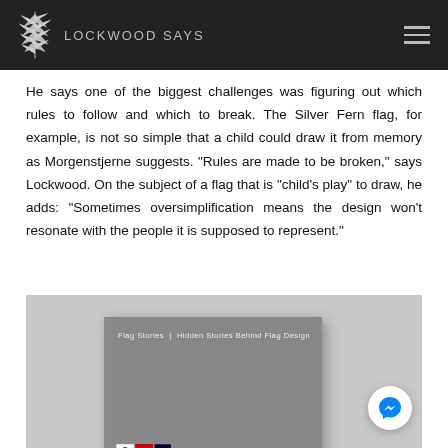Lockwood Says
He says one of the biggest challenges was figuring out which rules to follow and which to break. The Silver Fern flag, for example, is not so simple that a child could draw it from memory as Morgenstjerne suggests. “Rules are made to be broken,” says Lockwood. On the subject of a flag that is “child’s play” to draw, he adds: “Sometimes oversimplification means the design won’t resonate with the people it is supposed to represent.”
[Figure (photo): Book cover of 'Flag Stories | Hidden Stories Behind Flag Design' against a grey background, with small flag images visible at the bottom of the cover. A Facebook Messenger button appears in the lower right corner.]